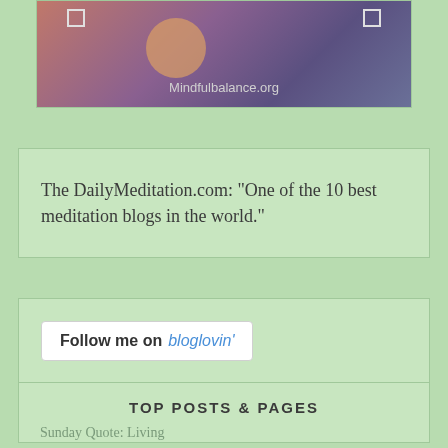[Figure (photo): Meditation/mindfulness themed image with sunset colors, purple and orange tones, with 'Mindfulbalance.org' text overlay and corner selection handles]
The DailyMeditation.com: "One of the 10 best meditation blogs in the world."
[Figure (other): Bloglovin follow button widget: 'Follow me on bloglovin']
TOP POSTS & PAGES
Sunday Quote: Living